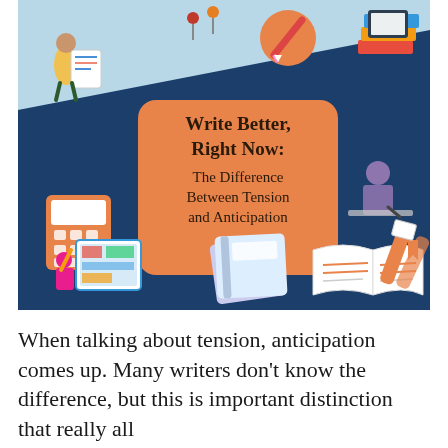[Figure (illustration): Banner illustration with dark navy blue and light blue diagonal background. Center features an orange rounded rectangle with the title 'Write Better, Right Now: The Difference Between Tension and Anticipation'. Surrounding illustrations include a woman reading a document, thumbtacks/pushpins, an orange pencil in a circle, a stack of books with a tablet, a calculator, a man writing at a desk, a person with a large notebook, stacked notebooks, an open book with orange highlights, and orange highlighter pens.]
When talking about tension, anticipation comes up. Many writers don't know the difference, but this is important distinction that really all...